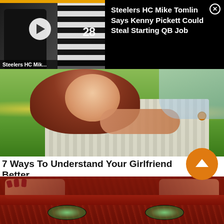[Figure (screenshot): Video thumbnail showing football coaches/referee with play button overlay, alongside news title text area on black background with close button]
Steelers HC Mike Tomlin Says Kenny Pickett Could Steal Starting QB Job
[Figure (photo): Photo of a woman with long auburn hair hugging a man from behind, outdoors with blurred green/yellow floral background]
7 Ways To Understand Your Girlfriend Better
Brainberries
[Figure (photo): Close-up photo of a woman with green eyes partially covered by a red knitted fabric/sweater pulled up over her nose, hands visible holding the fabric]